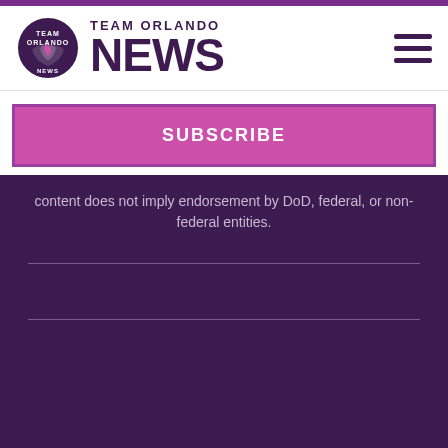Team Orlando NEWS
SUBSCRIBE
content does not imply endorsement by DoD, federal, or non-federal entities.